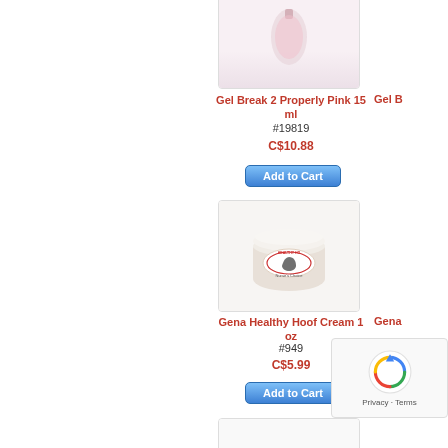[Figure (photo): Product image of Gel Break 2 Properly Pink 15 ml nail product (partially cropped at top)]
Gel Break 2 Properly Pink 15 ml
#19819
C$10.88
Add to Cart
[Figure (photo): Product image of Gena Healthy Hoof Cream 1 oz in white jar with horse logo]
Gena Healthy Hoof Cream 1 oz
#949
C$5.99
Add to Cart
[Figure (other): reCAPTCHA widget with spinning arrows icon and Privacy · Terms text]
Gel B...
Gena...
[Figure (photo): Partial product card at the bottom of the page, mostly cut off]